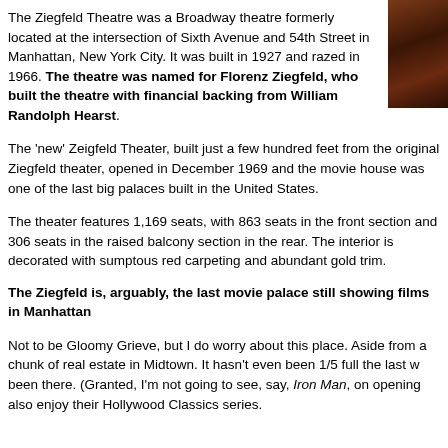[Figure (photo): Partial photo of theatre interior showing red/dark tones, cropped at top-right corner]
The Ziegfeld Theatre was a Broadway theatre formerly located at the intersection of Sixth Avenue and 54th Street in Manhattan, New York City. It was built in 1927 and razed in 1966. The theatre was named for Florenz Ziegfeld, who built the theatre with financial backing from William Randolph Hearst.
The 'new' Zeigfeld Theater, built just a few hundred feet from the original Ziegfeld theater, opened in December 1969 and the movie house was one of the last big palaces built in the United States.
The theater features 1,169 seats, with 863 seats in the front section and 306 seats in the raised balcony section in the rear. The interior is decorated with sumptous red carpeting and abundant gold trim.
The Ziegfeld is, arguably, the last movie palace still showing films in Manhattan
Not to be Gloomy Grieve, but I do worry about this place. Aside from a chunk of real estate in Midtown. It hasn't even been 1/5 full the last w been there. (Granted, I'm not going to see, say, Iron Man, on opening also enjoy their Hollywood Classics series.